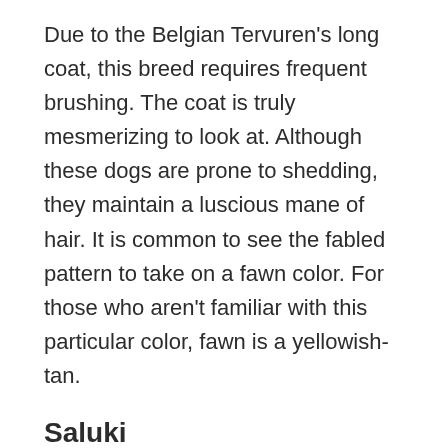Due to the Belgian Tervuren's long coat, this breed requires frequent brushing. The coat is truly mesmerizing to look at. Although these dogs are prone to shedding, they maintain a luscious mane of hair. It is common to see the fabled pattern to take on a fawn color. For those who aren't familiar with this particular color, fawn is a yellowish-tan.
Saluki
Very few dog breeds are as visually striking as the Saluki. There's no denying that this breed is quite rare. The Saluki emanates such elegance. Its long facial features are